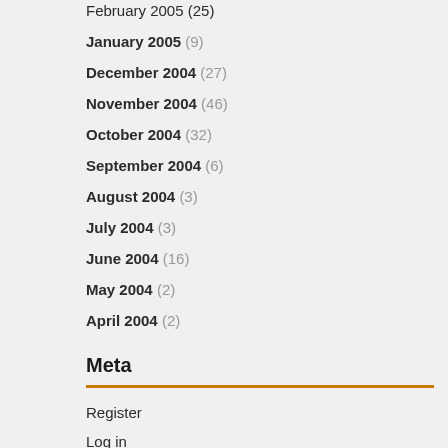February 2005 (25)
January 2005 (9)
December 2004 (27)
November 2004 (46)
October 2004 (32)
September 2004 (6)
August 2004 (3)
July 2004 (3)
June 2004 (16)
May 2004 (2)
April 2004 (2)
Meta
Register
Log in